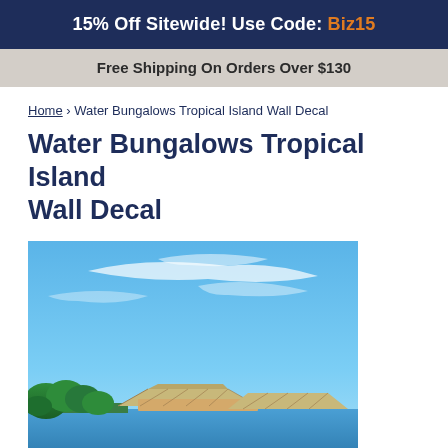15% Off Sitewide! Use Code: Biz15
Free Shipping On Orders Over $130
Home › Water Bungalows Tropical Island Wall Decal
Water Bungalows Tropical Island Wall Decal
[Figure (photo): Photograph of water bungalows on a tropical island under a bright blue sky with wispy white clouds, lush green palm trees visible on the left, wooden bungalow rooftops at the bottom.]